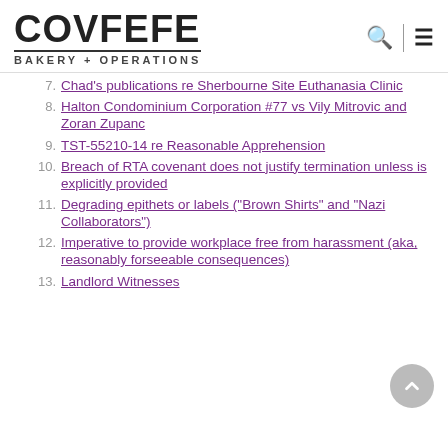COVFEFE BAKERY + OPERATIONS
7. Chad's publications re Sherbourne Site Euthanasia Clinic
8. Halton Condominium Corporation #77 vs Vily Mitrovic and Zoran Zupanc
9. TST-55210-14 re Reasonable Apprehension
10. Breach of RTA covenant does not justify termination unless is explicitly provided
11. Degrading epithets or labels ("Brown Shirts" and "Nazi Collaborators")
12. Imperative to provide workplace free from harassment (aka, reasonably forseeable consequences)
13. Landlord Witnesses